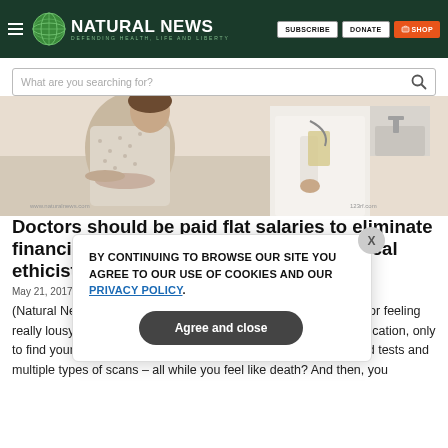NATURAL NEWS — DEFENDING HEALTH, LIFE AND LIBERTY
[Figure (photo): Patient in hospital gown sitting on exam table with doctor in white coat standing nearby holding a container]
Doctors should be paid flat salaries to eliminate financial conflicts of interest, argue medical ethicists
May 21, 2017 - Posted by...
(Natural News) How many of you, like me, have gone to the doctor feeling really lousy, expecting them to prescribe bed-rest and some medication, only to find yourself going from one place to another for a million blood tests and multiple types of scans – all while you feel like death? And then, you
BY CONTINUING TO BROWSE OUR SITE YOU AGREE TO OUR USE OF COOKIES AND OUR PRIVACY POLICY. Agree and close